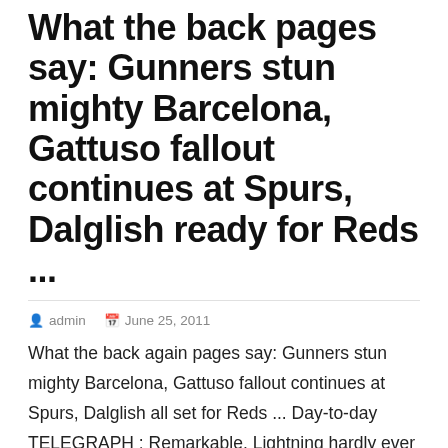What the back pages say: Gunners stun mighty Barcelona, Gattuso fallout continues at Spurs, Dalglish ready for Reds ...
admin   June 25, 2011
What the back again pages say: Gunners stun mighty Barcelona, Gattuso fallout continues at Spurs, Dalglish all set for Reds ... Day-to-day TELEGRAPH : Remarkable. Lightning hardly ever strikes the moment against Barcelona. Right here it struck twice. Unbelievable. Best Gunners Arshavin and van Persie assist gutsy Arsenal sink